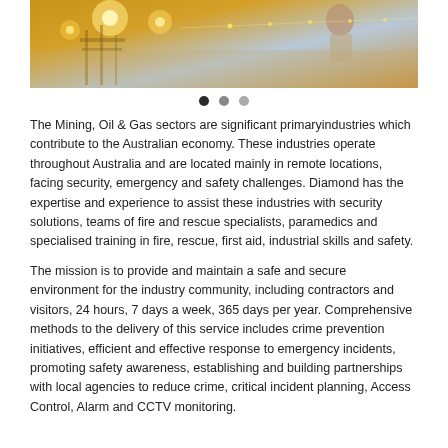[Figure (photo): Image of mining/oil & gas industrial site with warm golden lights and desert/aerial scene, with navigation dots below]
The Mining, Oil & Gas sectors are significant primaryindustries which contribute to the Australian economy. These industries operate throughout Australia and are located mainly in remote locations, facing security, emergency and safety challenges. Diamond has the expertise and experience to assist these industries with security solutions, teams of fire and rescue specialists, paramedics and specialised training in fire, rescue, first aid, industrial skills and safety.
The mission is to provide and maintain a safe and secure environment for the industry community, including contractors and visitors, 24 hours, 7 days a week, 365 days per year. Comprehensive methods to the delivery of this service includes crime prevention initiatives, efficient and effective response to emergency incidents, promoting safety awareness, establishing and building partnerships with local agencies to reduce crime, critical incident planning, Access Control, Alarm and CCTV monitoring.